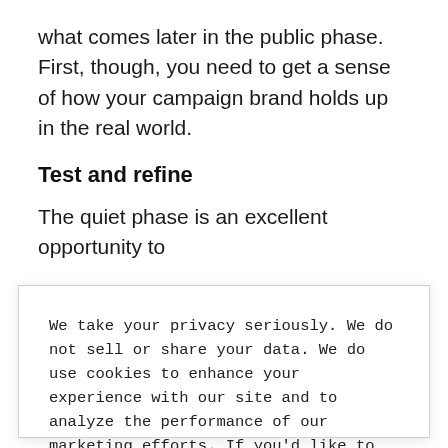what comes later in the public phase. First, though, you need to get a sense of how your campaign brand holds up in the real world.
Test and refine
The quiet phase is an excellent opportunity to
We take your privacy seriously. We do not sell or share your data. We do use cookies to enhance your experience with our site and to analyze the performance of our marketing efforts. If you'd like to learn more, please see our Privacy Notice.
Dismiss →